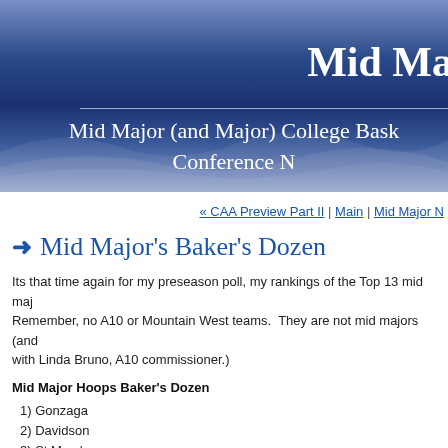Mid Ma
Mid Major (and Major) College Bask... Conference N...
« CAA Preview Part II | Main | Mid Major N
Mid Major's Baker's Dozen
Its that time again for my preseason poll, my rankings of the Top 13 mid maj... Remember, no A10 or Mountain West teams. They are not mid majors (and... with Linda Bruno, A10 commissioner.)
Mid Major Hoops Baker's Dozen
1) Gonzaga
2) Davidson
3) St Mary's
4) Creighton
5) San Diego
6) Siena
7) (cut off)